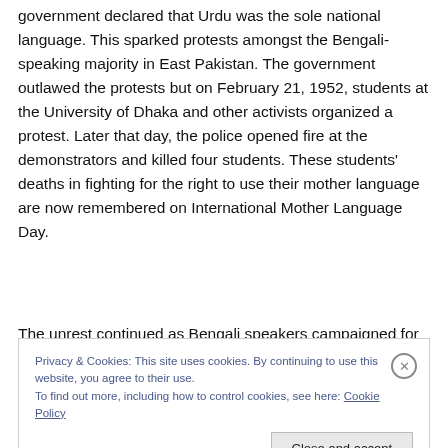government declared that Urdu was the sole national language. This sparked protests amongst the Bengali-speaking majority in East Pakistan. The government outlawed the protests but on February 21, 1952, students at the University of Dhaka and other activists organized a protest. Later that day, the police opened fire at the demonstrators and killed four students. These students' deaths in fighting for the right to use their mother language are now remembered on International Mother Language Day.
The unrest continued as Bengali speakers campaigned for...
Privacy & Cookies: This site uses cookies. By continuing to use this website, you agree to their use.
To find out more, including how to control cookies, see here: Cookie Policy